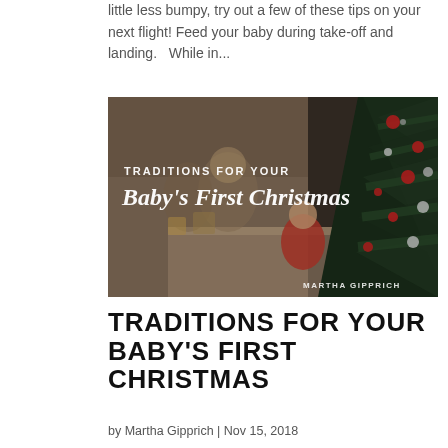little less bumpy, try out a few of these tips on your next flight! Feed your baby during take-off and landing.   While in...
[Figure (photo): Blog post thumbnail image with text overlay reading 'TRADITIONS FOR YOUR Baby's First Christmas' and 'MARTHA GIPPRICH' on a dark background showing a family near a Christmas tree]
TRADITIONS FOR YOUR BABY'S FIRST CHRISTMAS
by Martha Gipprich | Nov 15, 2018